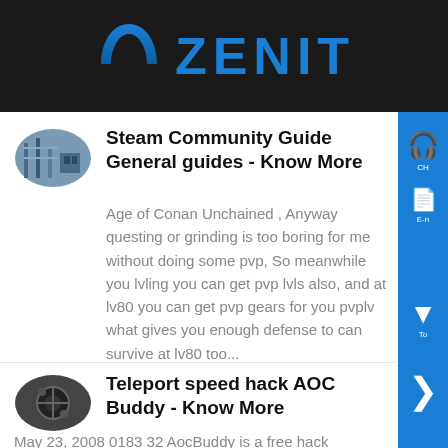ZENIT
Steam Community Guide General guides - Know More
Age of Conan Unchained , Anyway questing or grinding is too boring for me without doing some pvp, So meanwhile you lvling you can get pvp lvls also, and at lv80 you can get pvp gears for you pvplv what gives you enough defense to can survive at lv80 too...
Teleport speed hack AOC Buddy - Know More
May 23, 2008 0183 32 AocBuddy is a free hack designed for upcoming mmo Age of conan Features - 5 user defined speedhax settings - Lock Speed - can t be mezed stun, root, snare, sleep etc while running - Floating Teleport No lvl Fence and does more Tele...